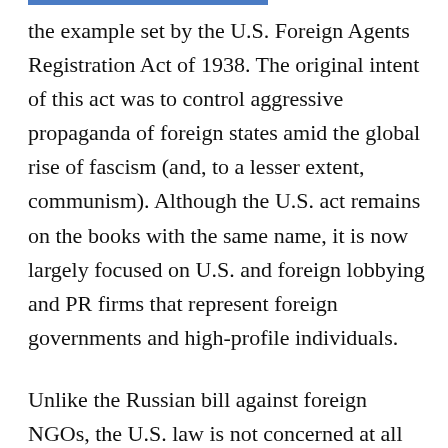the example set by the U.S. Foreign Agents Registration Act of 1938. The original intent of this act was to control aggressive propaganda of foreign states amid the global rise of fascism (and, to a lesser extent, communism). Although the U.S. act remains on the books with the same name, it is now largely focused on U.S. and foreign lobbying and PR firms that represent foreign governments and high-profile individuals.
Unlike the Russian bill against foreign NGOs, the U.S. law is not concerned at all with foreign NGOs operating in the United States. It would be hard to imagine U.S. congressmen proposing a bill to hound foreign NGOs operating in the United States